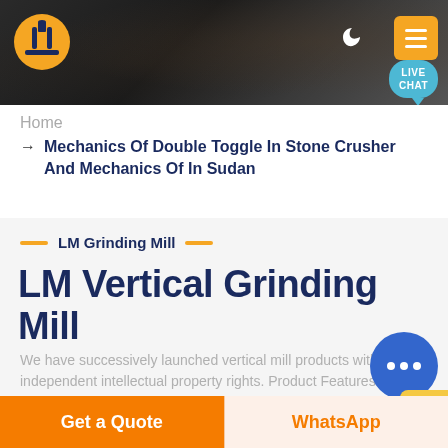[Figure (screenshot): Website header banner with dark industrial background showing machinery/crusher equipment. Contains orange hard-hat logo on left, moon icon and orange menu hamburger button on right, and a teal Live Chat speech bubble.]
Home
→ Mechanics Of Double Toggle In Stone Crusher And Mechanics Of In Sudan
— LM Grinding Mill —
LM Vertical Grinding Mill
We have successively launched vertical mill products with independent intellectual property rights. Product Features
[Figure (other): Blue circular chat button with ellipsis (…) icon, and yellow crescent accent below right]
Get a Quote
WhatsApp